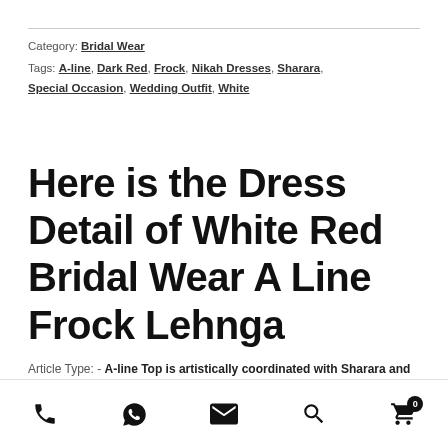Category: Bridal Wear
Tags: A-line, Dark Red, Frock, Nikah Dresses, Sharara, Special Occasion, Wedding Outfit, White
Here is the Dress Detail of White Red Bridal Wear A Line Frock Lehnga
Article Type: - A-line Top is artistically coordinated with Sharara and comes with dupatta.
Event or Occasion or Function:- Nikah, Muslim Nikah
[phone] [whatsapp] [email] [search] [cart 0]